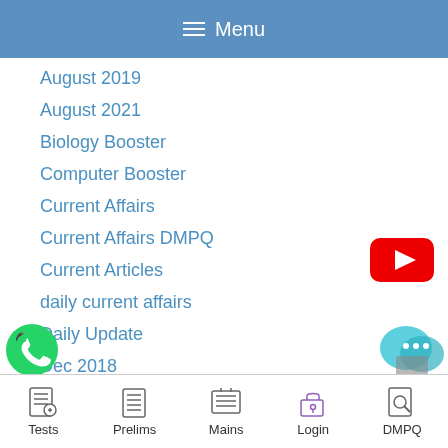Menu
August 2019
August 2021
Biology Booster
Computer Booster
Current Affairs
Current Affairs DMPQ
Current Articles
daily current affairs
Daily Update
Dec 2018
Dec 2019
Tests  Prelims  Mains  Login  DMPQ